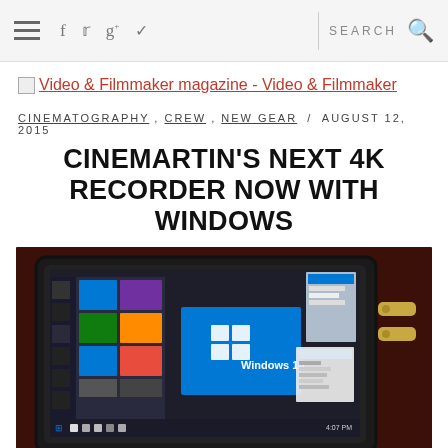Navigation bar with hamburger menu, social icons (f, twitter, g+, vimeo), search
[Figure (logo): Video & Filmmaker magazine logo link]
CINEMATOGRAPHY, CREW, NEW GEAR / AUGUST 12, 2015
CINEMARTIN'S NEXT 4K RECORDER NOW WITH WINDOWS
[Figure (photo): A 4K recorder device showing Windows 10 Start Menu on its built-in touchscreen display, placed on a dark red surface with SDI connectors visible on the right side.]